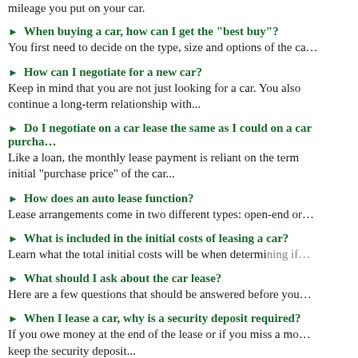mileage you put on your car.
► When buying a car, how can I get the "best buy"?
You first need to decide on the type, size and options of the ca…
► How can I negotiate for a new car?
Keep in mind that you are not just looking for a car. You also continue a long-term relationship with...
► Do I negotiate on a car lease the same as I could on a car purcha…
Like a loan, the monthly lease payment is reliant on the term initial "purchase price" of the car...
► How does an auto lease function?
Lease arrangements come in two different types: open-end or…
► What is included in the initial costs of leasing a car?
Learn what the total initial costs will be when determining if…
► What should I ask about the car lease?
Here are a few questions that should be answered before you…
► When I lease a car, why is a security deposit required?
If you owe money at the end of the lease or if you miss a mon… keep the security deposit...
► How do I…